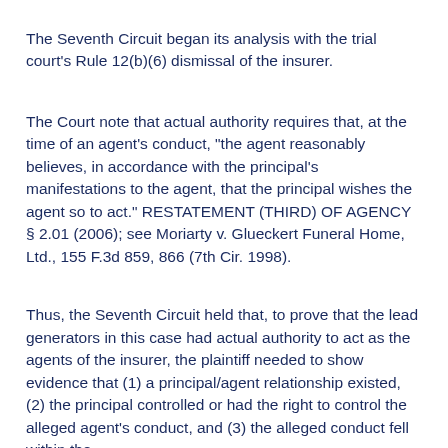The Seventh Circuit began its analysis with the trial court's Rule 12(b)(6) dismissal of the insurer.
The Court note that actual authority requires that, at the time of an agent's conduct, "the agent reasonably believes, in accordance with the principal's manifestations to the agent, that the principal wishes the agent so to act." RESTATEMENT (THIRD) OF AGENCY § 2.01 (2006); see Moriarty v. Glueckert Funeral Home, Ltd., 155 F.3d 859, 866 (7th Cir. 1998).
Thus, the Seventh Circuit held that, to prove that the lead generators in this case had actual authority to act as the agents of the insurer, the plaintiff needed to show evidence that (1) a principal/agent relationship existed, (2) the principal controlled or had the right to control the alleged agent's conduct, and (3) the alleged conduct fell within the